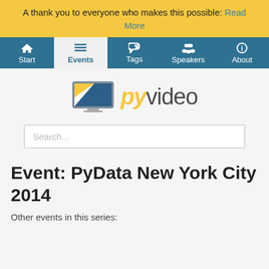A thank you to everyone who makes this possible: Read More
[Figure (screenshot): Navigation bar with icons for Start, Events (active), Tags, Speakers, About]
[Figure (logo): PyVideo logo with monitor icon and pyvideo text]
Search...
Event: PyData New York City 2014
Other events in this series: